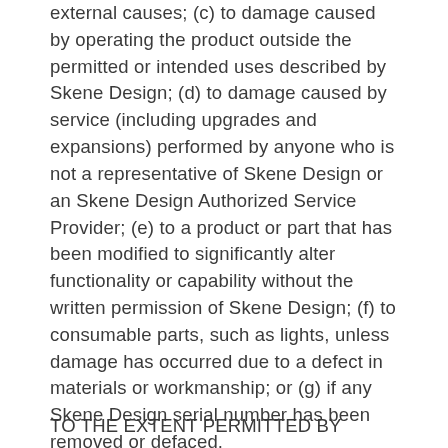external causes; (c) to damage caused by operating the product outside the permitted or intended uses described by Skene Design; (d) to damage caused by service (including upgrades and expansions) performed by anyone who is not a representative of Skene Design or an Skene Design Authorized Service Provider; (e) to a product or part that has been modified to significantly alter functionality or capability without the written permission of Skene Design; (f) to consumable parts, such as lights, unless damage has occurred due to a defect in materials or workmanship; or (g) if any Skene Design serial number has been removed or defaced.
TO THE EXTENT PERMITTED BY